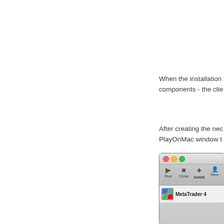When the installation is complete, PlayOnMac will install the required components - the clie
After creating the necessary configuration, the newly installed application appears in the PlayOnMac window t
[Figure (screenshot): Screenshot of PlayOnMac application window showing traffic light buttons (red, yellow, green), toolbar with Run, Close, Install, Remove buttons, and MetaTrader 4 listed as an installed application.]